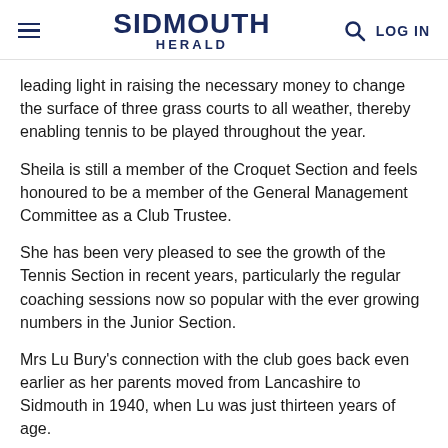SIDMOUTH HERALD
leading light in raising the necessary money to change the surface of three grass courts to all weather, thereby enabling tennis to be played throughout the year.
Sheila is still a member of the Croquet Section and feels honoured to be a member of the General Management Committee as a Club Trustee.
She has been very pleased to see the growth of the Tennis Section in recent years, particularly the regular coaching sessions now so popular with the ever growing numbers in the Junior Section.
Mrs Lu Bury's connection with the club goes back even earlier as her parents moved from Lancashire to Sidmouth in 1940, when Lu was just thirteen years of age.